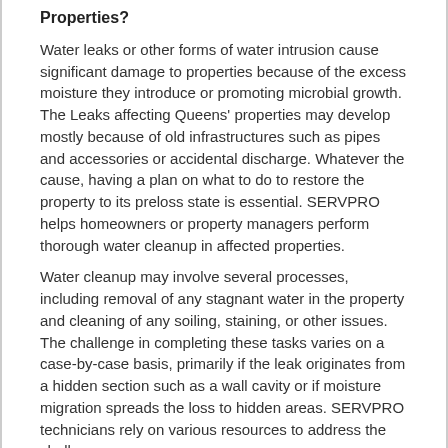Properties?
Water leaks or other forms of water intrusion cause significant damage to properties because of the excess moisture they introduce or promoting microbial growth. The Leaks affecting Queens' properties may develop mostly because of old infrastructures such as pipes and accessories or accidental discharge. Whatever the cause, having a plan on what to do to restore the property to its preloss state is essential. SERVPRO helps homeowners or property managers perform thorough water cleanup in affected properties.
Water cleanup may involve several processes, including removal of any stagnant water in the property and cleaning of any soiling, staining, or other issues. The challenge in completing these tasks varies on a case-by-case basis, primarily if the leak originates from a hidden section such as a wall cavity or if moisture migration spreads the loss to hidden areas. SERVPRO technicians rely on various resources to address the challenges.
Use of sophisticated water extraction equipment with sufficient lift capacity to cut down the time take to